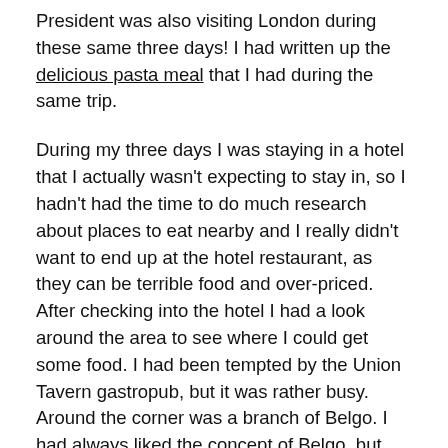President was also visiting London during these same three days! I had written up the delicious pasta meal that I had during the same trip.
During my three days I was staying in a hotel that I actually wasn't expecting to stay in, so I hadn't had the time to do much research about places to eat nearby and I really didn't want to end up at the hotel restaurant, as they can be terrible food and over-priced. After checking into the hotel I had a look around the area to see where I could get some food. I had been tempted by the Union Tavern gastropub, but it was rather busy. Around the corner was a branch of Belgo. I had always liked the concept of Belgo, but there wasn't one in Bristol so I had never managed to get to a branch. I had thought about visiting the one in Kingsway when I was looking for lunch when I was working in our London office, but it was a little too far away (and too expensive) for lunch. So the